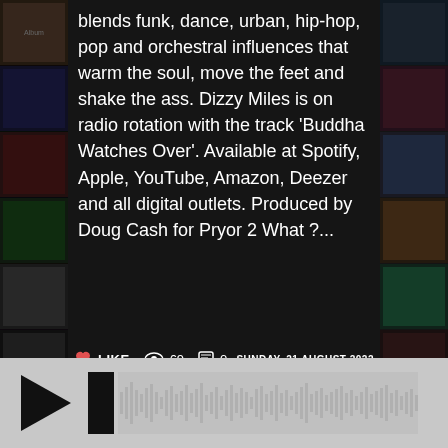blends funk, dance, urban, hip-hop, pop and orchestral influences that warm the soul, move the feet and shake the ass. Dizzy Miles is on radio rotation with the track 'Buddha Watches Over'. Available at Spotify, Apple, YouTube, Amazon, Deezer and all digital outlets. Produced by Doug Cash for Pryor 2 What ?...
LIKE  69  0  SUNDAY, 21 AUGUST 2022
FEATURED ARTISTS
[Figure (photo): Black and white photo of Hollis Morrissette against a newspaper background, wearing a leather jacket and black t-shirt. Text overlay reads 'Hollis Morrissette' and 'I Can't Hate You' partially visible at bottom.]
[Figure (other): Music player bar at bottom with play button (triangle), progress bar (black rectangle), and waveform visualization on grey background.]